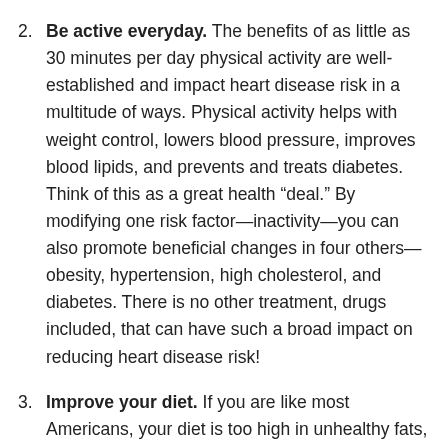2. Be active everyday. The benefits of as little as 30 minutes per day physical activity are well-established and impact heart disease risk in a multitude of ways. Physical activity helps with weight control, lowers blood pressure, improves blood lipids, and prevents and treats diabetes. Think of this as a great health “deal.” By modifying one risk factor—inactivity—you can also promote beneficial changes in four others—obesity, hypertension, high cholesterol, and diabetes. There is no other treatment, drugs included, that can have such a broad impact on reducing heart disease risk!
3. Improve your diet. If you are like most Americans, your diet is too high in unhealthy fats, salt, and added sugar and lacking adequate whole grains, fruits and vegetables, and fiber. This type of diet is associated